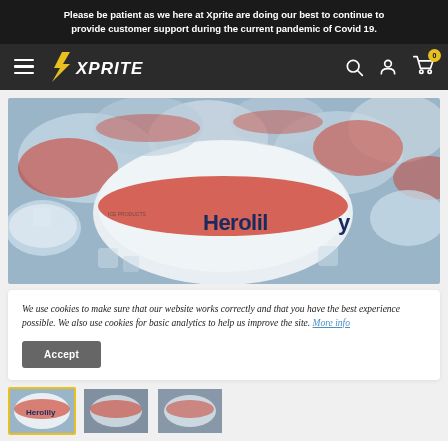Please be patient as we here at Xprite are doing our best to continue to provide customer support during the current pandemic of Covid 19.
[Figure (logo): Xprite logo with stylized lightning bolt icon in yellow and white text on dark background]
[Figure (photo): Close-up photo of Herolily ice products in clear plastic packaging with red and navy branding, piled together]
We use cookies to make sure that our website works correctly and that you have the best experience possible. We also use cookies for basic analytics to help us improve the site. More info
[Figure (photo): Three product thumbnail images at bottom, first one highlighted with yellow border]